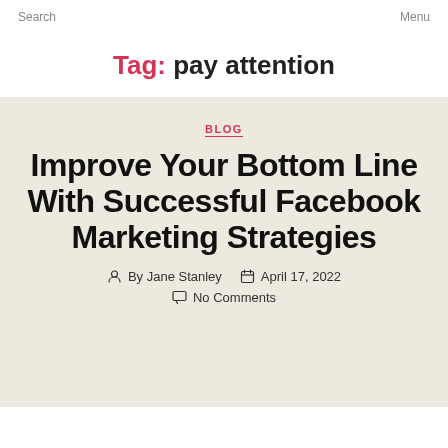Search   Menu
Tag: pay attention
BLOG
Improve Your Bottom Line With Successful Facebook Marketing Strategies
By Jane Stanley   April 17, 2022
No Comments